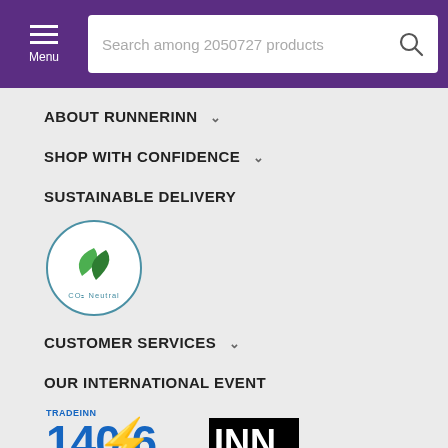Search among 2050727 products
ABOUT RUNNERINN
SHOP WITH CONFIDENCE
SUSTAINABLE DELIVERY
[Figure (logo): CO2 Neutral green leaf logo in a circle]
CUSTOMER SERVICES
OUR INTERNATIONAL EVENT
[Figure (logo): TRADEINN 140.6 INN INTERNATIONAL TRIATHLON logo]
OUR TRIATHLON CLUB